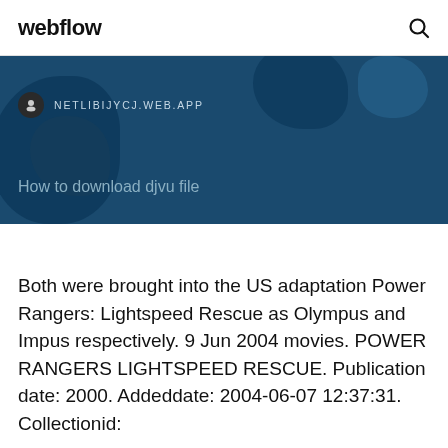webflow
[Figure (screenshot): Website banner with dark blue map background showing NETLIBIJYCJ.WEB.APP URL and subtitle 'How to download djvu file']
Both were brought into the US adaptation Power Rangers: Lightspeed Rescue as Olympus and Impus respectively. 9 Jun 2004 movies. POWER RANGERS LIGHTSPEED RESCUE. Publication date: 2000. Addeddate: 2004-06-07 12:37:31. Collectionid: